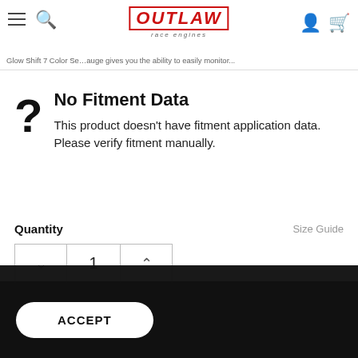Outlaw Race Engines - navigation header with hamburger, search, logo, user and cart icons
No Fitment Data
This product doesn't have fitment application data. Please verify fitment manually.
Quantity   Size Guide
Subtotal: $46.99
ADD TO CART
We use cookies to improve your experience on our website. Read about how we use cookies in our Privacy Policy. By browsing this website, you agree to our use of cookies. Privacy Policy
ADD TO WISH LIST
ACCEPT